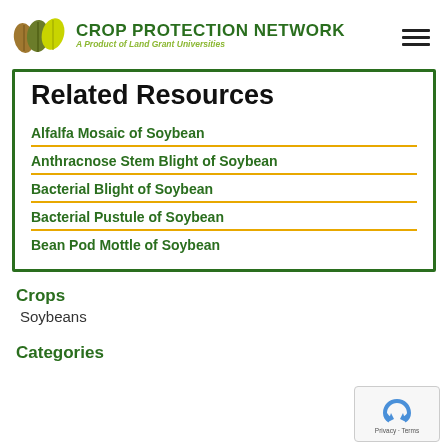CROP PROTECTION NETWORK — A Product of Land Grant Universities
Related Resources
Alfalfa Mosaic of Soybean
Anthracnose Stem Blight of Soybean
Bacterial Blight of Soybean
Bacterial Pustule of Soybean
Bean Pod Mottle of Soybean
Crops
Soybeans
Categories